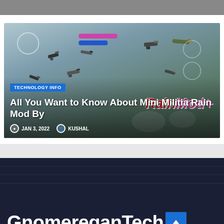[Figure (screenshot): Top grey image placeholder strip]
[Figure (screenshot): Article card with game background showing Mini Militia Rain Mod+ with weapons scattered, category badge TECHNOLOGY INFO, article title 'All You Want to Know About Mini Militia Rain Mod By', date JAN 3, 2022 and author KUSHAL]
TECHNOLOGY INFO
All You Want to Know About Mini Militia Rain Mod By
JAN 3, 2022   KUSHAL
GnomereganTech